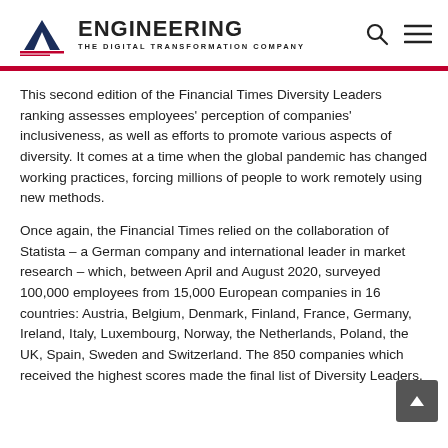[Figure (logo): Engineering – The Digital Transformation Company logo with triangle/mountain icon on left and bold ENGINEERING text with tagline THE DIGITAL TRANSFORMATION COMPANY]
This second edition of the Financial Times Diversity Leaders ranking assesses employees' perception of companies' inclusiveness, as well as efforts to promote various aspects of diversity. It comes at a time when the global pandemic has changed working practices, forcing millions of people to work remotely using new methods.
Once again, the Financial Times relied on the collaboration of Statista – a German company and international leader in market research – which, between April and August 2020, surveyed 100,000 employees from 15,000 European companies in 16 countries: Austria, Belgium, Denmark, Finland, France, Germany, Ireland, Italy, Luxembourg, Norway, the Netherlands, Poland, the UK, Spain, Sweden and Switzerland. The 850 companies which received the highest scores made the final list of Diversity Leaders.